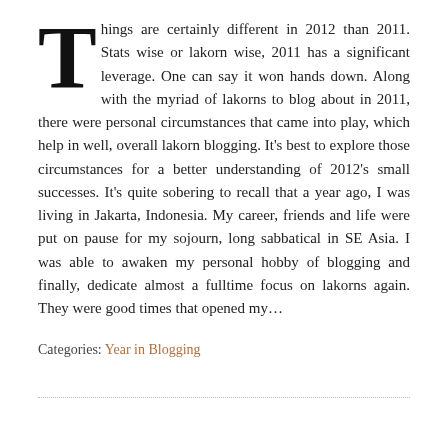Things are certainly different in 2012 than 2011. Stats wise or lakorn wise, 2011 has a significant leverage. One can say it won hands down. Along with the myriad of lakorns to blog about in 2011, there were personal circumstances that came into play, which help in well, overall lakorn blogging. It's best to explore those circumstances for a better understanding of 2012's small successes. It's quite sobering to recall that a year ago, I was living in Jakarta, Indonesia. My career, friends and life were put on pause for my sojourn, long sabbatical in SE Asia. I was able to awaken my personal hobby of blogging and finally, dedicate almost a fulltime focus on lakorns again. They were good times that opened my…
Categories: Year in Blogging